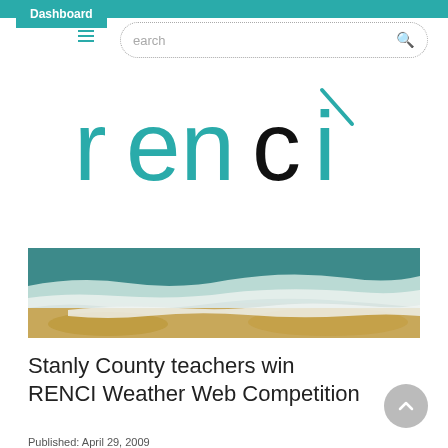Dashboard
[Figure (logo): RENCI logo — teal letters 'renci' with a black diagonal accent mark above the 'i']
[Figure (photo): Aerial or close-up photograph of a beach with turquoise water, white sea foam, and sandy shore]
Stanly County teachers win RENCI Weather Web Competition
Published: April 29, 2009